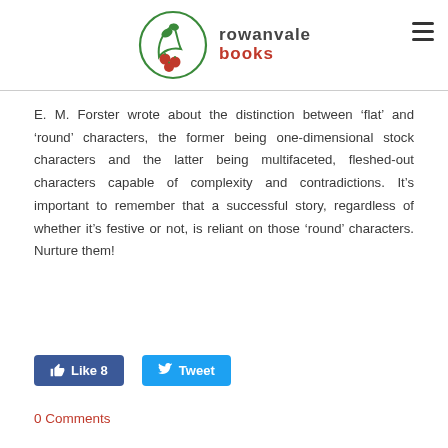[Figure (logo): Rowanvale Books logo: green circular branch with red berries on left, text 'rowanvale' in dark grey and 'books' in red on right]
E. M. Forster wrote about the distinction between ‘flat’ and ‘round’ characters, the former being one-dimensional stock characters and the latter being multifaceted, fleshed-out characters capable of complexity and contradictions. It’s important to remember that a successful story, regardless of whether it’s festive or not, is reliant on those ‘round’ characters. Nurture them!
Like 8
Tweet
0 Comments